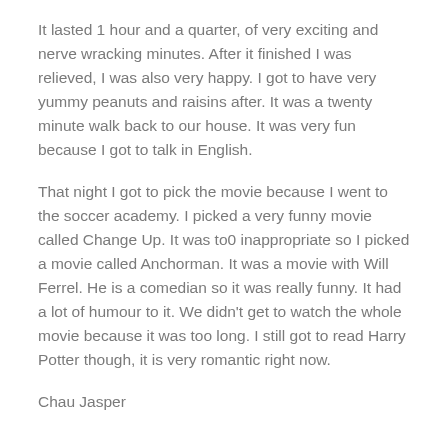It lasted 1 hour and a quarter, of very exciting and nerve wracking minutes. After it finished I was relieved, I was also very happy. I got to have very yummy peanuts and raisins after. It was a twenty minute walk back to our house. It was very fun because I got to talk in English.
That night I got to pick the movie because I went to the soccer academy. I picked a very funny movie called Change Up. It was to0 inappropriate so I picked a movie called Anchorman. It was a movie with Will Ferrel. He is a comedian so it was really funny. It had a lot of humour to it. We didn't get to watch the whole movie because it was too long. I still got to read Harry Potter though, it is very romantic right now.
Chau Jasper